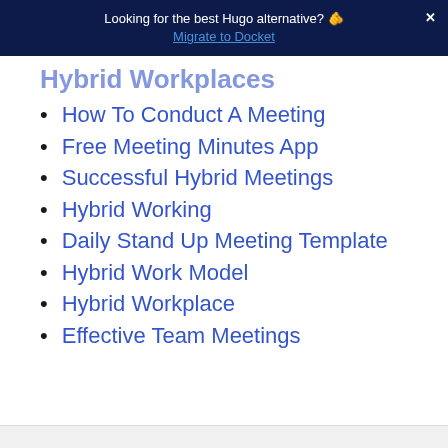Looking for the best Hugo alternative? 👉 Migrate to Docket
Hybrid Workplaces
How To Conduct A Meeting
Free Meeting Minutes App
Successful Hybrid Meetings
Hybrid Working
Daily Stand Up Meeting Template
Hybrid Work Model
Hybrid Workplace
Effective Team Meetings